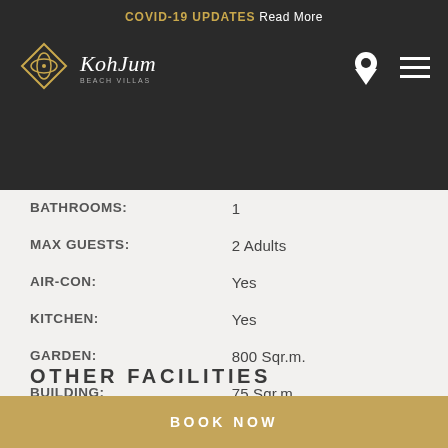COVID-19 UPDATES Read More
[Figure (logo): Koh Jum Beach Villas logo with diamond shape and navigation icons]
| BATHROOMS: | 1 |
| MAX GUESTS: | 2 Adults |
| AIR-CON: | Yes |
| KITCHEN: | Yes |
| GARDEN: | 800 Sqr.m. |
| BUILDING: | 75 Sqr.m. |
| POOL/TERRACE: | 65 Sqr.m. |
OTHER FACILITIES
BOOK NOW